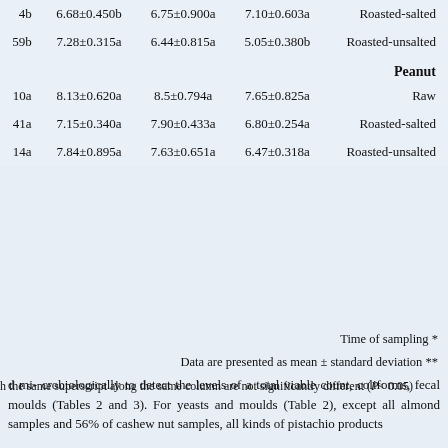| Col1 | Col2 | Col3 | Col4 | Treatment |
| --- | --- | --- | --- | --- |
| ...4b | 6.68±0.450b | 6.75±0.900a | 7.10±0.603a | Roasted-salted |
| ...59b | 7.28±0.315a | 6.44±0.815a | 5.05±0.380b | Roasted-unsalted |
|  |  |  |  | Peanut |
| ...10a | 8.13±0.620a | 8.5±0.794a | 7.65±0.825a | Raw |
| ...41a | 7.15±0.340a | 7.90±0.433a | 6.80±0.254a | Roasted-salted |
| ...14a | 7.84±0.895a | 7.63±0.651a | 6.47±0.318a | Roasted-unsalted |
Time of sampling *
Data are presented as mean ± standard deviation **
...h the same superscript along the same column are not significantly different (P< 0.05)
d mi- crobiologically to detect the levels of a total viable count, coliforms, fecal moulds (Tables 2 and 3). For yeasts and moulds (Table 2), except all almond samples and 56% of cashew nut samples, all kinds of pistachio products